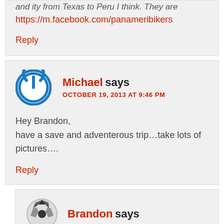and ity from Texas to Peru I think. They are https://m.facebook.com/panameribikers
Reply
Michael says OCTOBER 19, 2013 AT 9:46 PM
Hey Brandon,
have a save and adventerous trip…take lots of pictures….
Reply
Brandon says